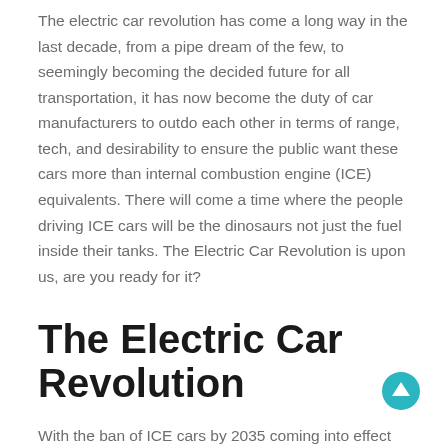The electric car revolution has come a long way in the last decade, from a pipe dream of the few, to seemingly becoming the decided future for all transportation, it has now become the duty of car manufacturers to outdo each other in terms of range, tech, and desirability to ensure the public want these cars more than internal combustion engine (ICE) equivalents. There will come a time where the people driving ICE cars will be the dinosaurs not just the fuel inside their tanks. The Electric Car Revolution is upon us, are you ready for it?
The Electric Car Revolution
With the ban of ICE cars by 2035 coming into effect manufacturers have been forced to increase their efforts to improve their electric and hybrid offerings before that